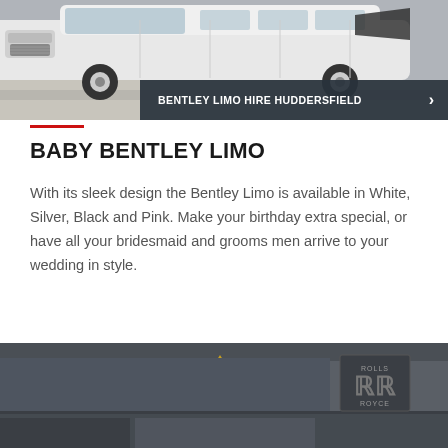[Figure (photo): White stretch limousine photographed from the front-left angle on a street, doors open, showing luxury exterior.]
BENTLEY LIMO HIRE HUDDERSFIELD
BABY BENTLEY LIMO
With its sleek design the Bentley Limo is available in White, Silver, Black and Pink. Make your birthday extra special, or have all your bridesmaid and grooms men arrive to your wedding in style.
[Figure (photo): Dark grey building facade with Rolls-Royce (RR double-R) logo badge and Porsche crest logo mounted on the wall outside a dealership.]